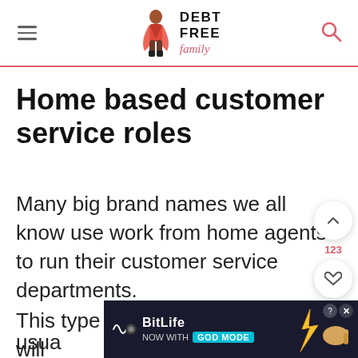DEBT FREE family
Home based customer service roles
Many big brand names we all know use work from home agents to run their customer service departments.
This type of customer service agent will usual
[Figure (screenshot): BitLife advertisement banner with 'NOW WITH GOD MODE' text and pointing hand graphic]